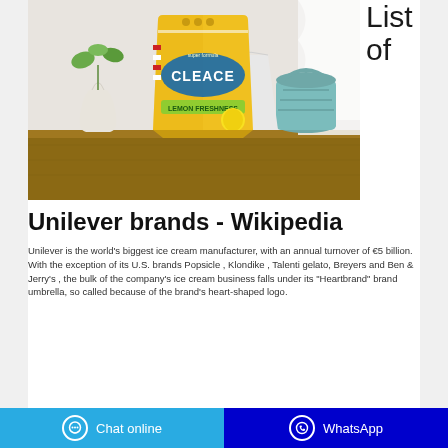[Figure (photo): Photo of a yellow Cleace Lemon Freshness laundry detergent powder bag sitting on a wooden table, with a white vase with plant and blue laundry basket in background.]
List of
Unilever brands - Wikipedia
Unilever is the world's biggest ice cream manufacturer, with an annual turnover of €5 billion. With the exception of its U.S. brands Popsicle , Klondike , Talenti gelato, Breyers and Ben & Jerry's , the bulk of the company's ice cream business falls under its "Heartbrand" brand umbrella, so called because of the brand's heart-shaped logo.
Chat online   WhatsApp